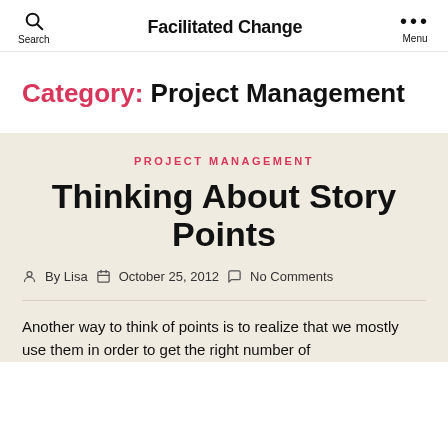Facilitated Change | Search | Menu
Category: Project Management
PROJECT MANAGEMENT
Thinking About Story Points
By Lisa | October 25, 2012 | No Comments
Another way to think of points is to realize that we mostly use them in order to get the right number of